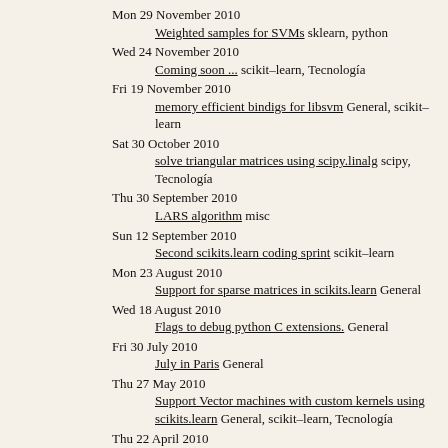Mon 29 November 2010
    Weighted samples for SVMs sklearn, python
Wed 24 November 2010
    Coming soon ... scikit-learn, Tecnología
Fri 19 November 2010
    memory efficient bindigs for libsvm General, scikit-learn
Sat 30 October 2010
    solve triangular matrices using scipy.linalg scipy, Tecnología
Thu 30 September 2010
    LARS algorithm misc
Sun 12 September 2010
    Second scikits.learn coding sprint scikit-learn
Mon 23 August 2010
    Support for sparse matrices in scikits.learn General
Wed 18 August 2010
    Flags to debug python C extensions. General
Fri 30 July 2010
    July in Paris General
Thu 27 May 2010
    Support Vector machines with custom kernels using scikits.learn General, scikit-learn, Tecnología
Thu 22 April 2010
    Howto link against system-wide BLAS library using numpy.distutils General